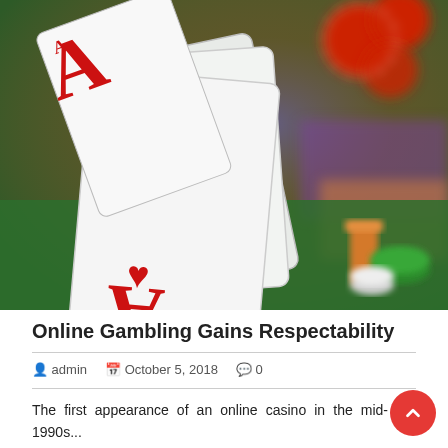[Figure (photo): Close-up photo of three playing cards (Aces) fanned out on a green felt surface with colorful casino chips in the background. Cards show Ace of spades and Ace of hearts prominently.]
Online Gambling Gains Respectability
admin   October 5, 2018   0
The first appearance of an online casino in the mid-1990s...